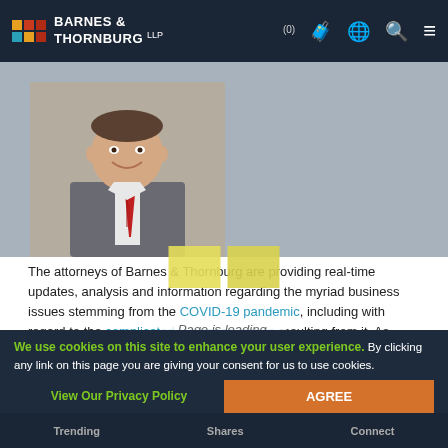BARNES & THORNBURG LLP
[Figure (photo): Professional headshot of a man in a grey suit with a red tie, smiling, against a neutral background]
The attorneys of Barnes & Thornburg are providing real-time updates, analysis and information regarding the myriad business issues stemming from the COVID-19 pandemic, including with regard to the complicated insurance issues resulting from it. As businesses continue to confront the impacts of the pandemic on their operations, employees, customers and finances, there is some welcome news on a different "viral" front. In what may be a boon for businesses (including employers and other entities) facing litigation under the Illinois Biometric Information Privacy Act (BIPA), the Appellate Court of Illinois (First Distri... that an
Page is loading.
We use cookies on this site to enhance your user experience. By clicking any link on this page you are giving your consent for us to use cookies.
View Our Privacy Policy
AGREE
Trending     Shares     Connect